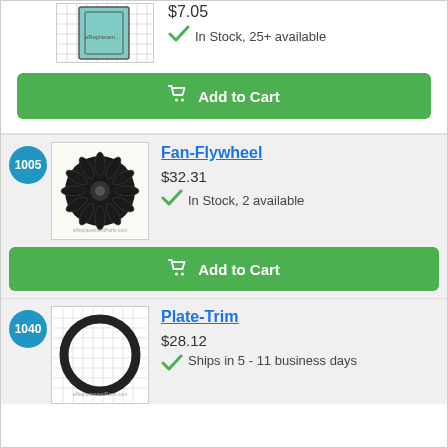[Figure (photo): Product image of a rectangular gasket/filter part on grid paper background]
$7.05
In Stock, 25+ available
Add to Cart
1005
[Figure (photo): Product image of a Fan-Flywheel part, black fan wheel on cream background]
Fan-Flywheel
$32.31
In Stock, 2 available
Add to Cart
1040
[Figure (photo): Product image of a Plate-Trim ring/gasket on grid paper background]
Plate-Trim
$28.12
Ships in 5 - 11 business days